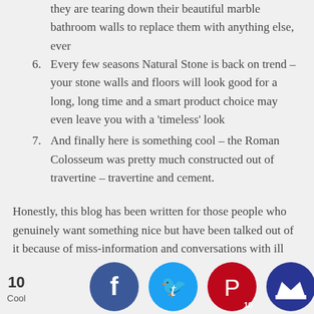they are tearing down their beautiful marble bathroom walls to replace them with anything else, ever
6. Every few seasons Natural Stone is back on trend – your stone walls and floors will look good for a long, long time and a smart product choice may even leave you with a 'timeless' look
7. And finally here is something cool – the Roman Colosseum was pretty much constructed out of travertine – travertine and cement.
Honestly, this blog has been written for those people who genuinely want something nice but have been talked out of it because of miss-information and conversations with ill advisers.   Ask better questions and get what you want.  All the best with your next project.
By Pa
10 Cool
[Figure (infographic): Social sharing icons: Facebook (blue circle with f), Twitter (cyan circle with bird), Pinterest (red circle with P and count 10), Crown/Mightybell icon (dark blue circle with crown)]